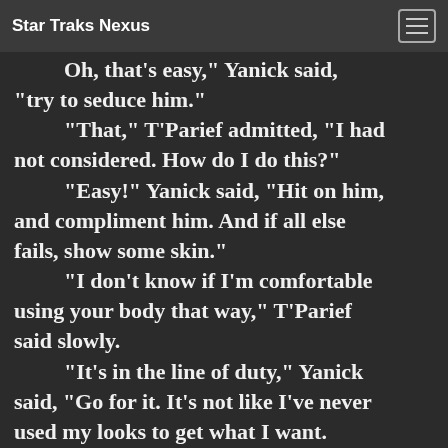Star Traks Nexus
Oh, that's easy," Yanick said, "try to seduce him."
	"That," T'Parief admitted, "I had not considered. How do I do this?"
	"Easy!" Yanick said, "Hit on him, and compliment him. And if all else fails, show some skin."
	"I don't know if I'm comfortable using your body that way," T'Parief said slowly.
	"It's in the line of duty," Yanick said, "Go for it. It's not like I've never used my looks to get what I want. Just remember: all men are horny